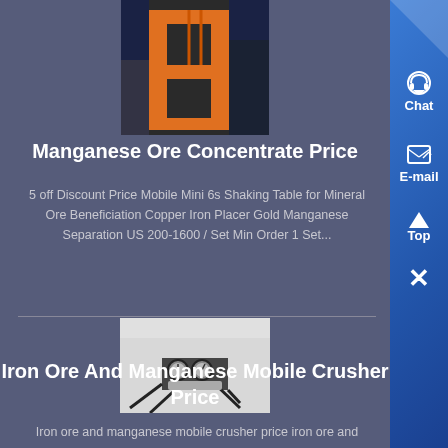[Figure (photo): Orange industrial crane or lifting equipment photographed from below]
Manganese Ore Concentrate Price
5 off Discount Price Mobile Mini 6s Shaking Table for Mineral Ore Beneficiation Copper Iron Placer Gold Manganese Separation US 200-1600 / Set Min Order 1 Set...
[Figure (photo): Industrial equipment with gauges and pipes, partially visible white curved tank]
Iron Ore And Manganese Mobile Crusher Price
Iron ore and manganese mobile crusher price iron ore and